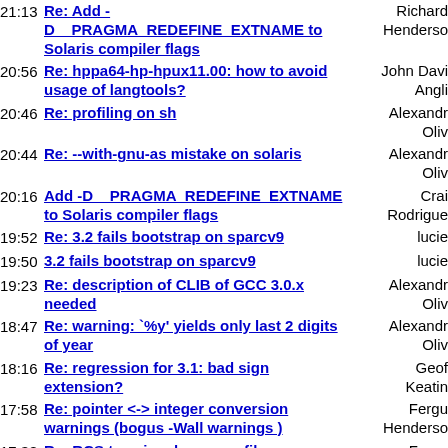21:13 Re: Add -D PRAGMA_REDEFINE_EXTNAME to Solaris compiler flags - Richard Henderson
20:56 Re: hppa64-hp-hpux11.00: how to avoid usage of langtools? - John David Anglin
20:46 Re: profiling on sh - Alexandre Oliva
20:44 Re: --with-gnu-as mistake on solaris - Alexandre Oliva
20:16 Add -D PRAGMA_REDEFINE_EXTNAME to Solaris compiler flags - Craig Rodriguez
19:52 Re: 3.2 fails bootstrap on sparcv9 - lucien
19:50 3.2 fails bootstrap on sparcv9 - lucien
19:23 Re: description of CLIB of GCC 3.0.x needed - Alexandre Oliva
18:47 Re: warning: `%y' yields only last 2 digits of year - Alexandre Oliva
18:16 Re: regression for 3.1: bad sign extension? - Geoffrey Keating
17:58 Re: pointer <-> integer conversion warnings (bogus -Wall warnings ) - Fergus Henderson
17:38 Re: RCS tags in ada source files - Fergus Henderson